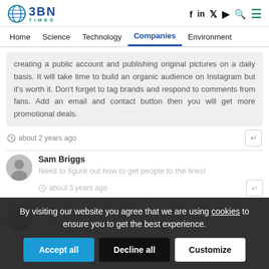BBN TIMES — Home | Science | Technology | Companies | Environment
creating a public account and publishing original pictures on a daily basis. It will take time to build an organic audience on Instagram but it's worth it. Don't forget to tag brands and respond to comments from fans. Add an email and contact button then you will get more promotional deals.
about 2 years ago
Sam Briggs
Need to figure out how to get people to the links!
about 3 years ago
By visiting our website you agree that we are using cookies to ensure you to get the best experience.